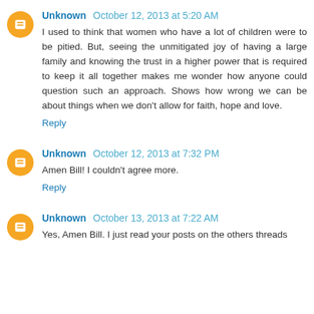Unknown October 12, 2013 at 5:20 AM
I used to think that women who have a lot of children were to be pitied. But, seeing the unmitigated joy of having a large family and knowing the trust in a higher power that is required to keep it all together makes me wonder how anyone could question such an approach. Shows how wrong we can be about things when we don't allow for faith, hope and love.
Reply
Unknown October 12, 2013 at 7:32 PM
Amen Bill! I couldn't agree more.
Reply
Unknown October 13, 2013 at 7:22 AM
Yes, Amen Bill. I just read your posts on the others threads